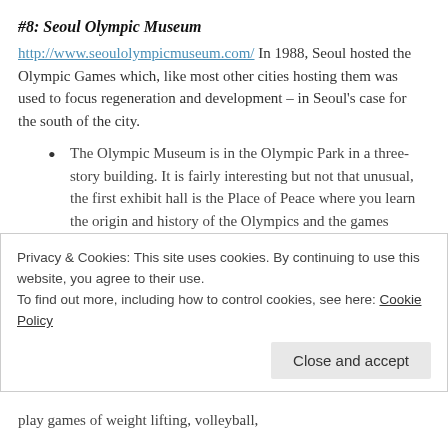#8: Seoul Olympic Museum
http://www.seoulolympicmuseum.com/ In 1988, Seoul hosted the Olympic Games which, like most other cities hosting them was used to focus regeneration and development – in Seoul's case for the south of the city.
The Olympic Museum is in the Olympic Park in a three-story building. It is fairly interesting but not that unusual, the first exhibit hall is the Place of Peace where you learn the origin and history of the Olympics and the games involved. They look at Olympic heroes and the mascots of the 88 Olympics, Hodori and Hosuni. You can also watch a film
Privacy & Cookies: This site uses cookies. By continuing to use this website, you agree to their use.
To find out more, including how to control cookies, see here: Cookie Policy
play games of weight lifting, volleyball,